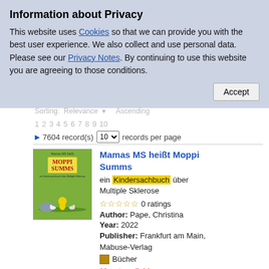Information about Privacy
This website uses Cookies so that we can provide you with the best user experience. We also collect and use personal data. Please see our Privacy Notes. By continuing to use this website you are agreeing to those conditions.
1 2 3 4 5 6 7 8 9 10   |  7604 record(s)  10 records per page
[Figure (illustration): Book cover for 'Mamas MS heißt Moppi Summs' showing a yellow character and animals on a green background]
Mamas MS heißt Moppi Summs
ein Kindersachbuch über Multiple Sklerose
☆☆☆☆☆ 0 ratings
Author: Pape, Christina
Year: 2022
Publisher: Frankfurt am Main, Mabuse-Verlag
Bücher
not available